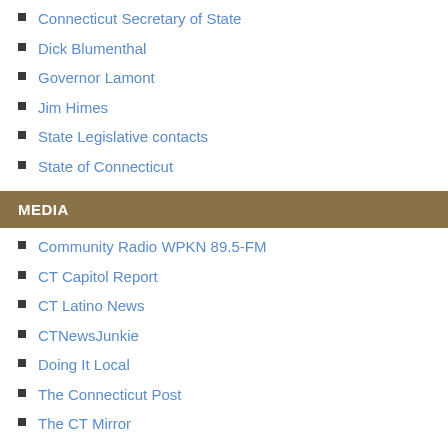Connecticut Secretary of State
Dick Blumenthal
Governor Lamont
Jim Himes
State Legislative contacts
State of Connecticut
MEDIA
Community Radio WPKN 89.5-FM
CT Capitol Report
CT Latino News
CTNewsJunkie
Doing It Local
The Connecticut Post
The CT Mirror
The Hartford Courant